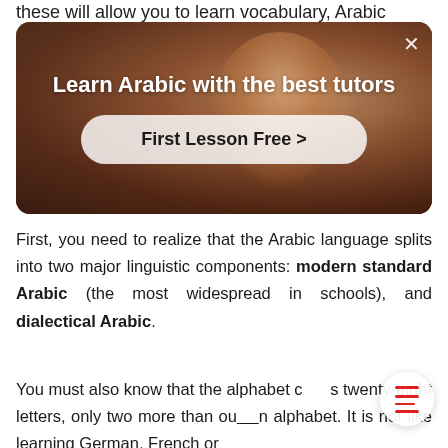these will allow you to learn vocabulary, Arabic
[Figure (screenshot): Advertisement banner for Arabic language tutoring. Shows a person in a red top with arms outstretched. Contains text 'Learn Arabic with the best tutors' and a button 'First Lesson Free >']
First, you need to realize that the Arabic language splits into two major linguistic components: modern standard Arabic (the most widespread in schools), and dialectical Arabic.
You must also know that the alphabet consists of twenty-eight letters, only two more than our own alphabet. It is not like learning German, French or